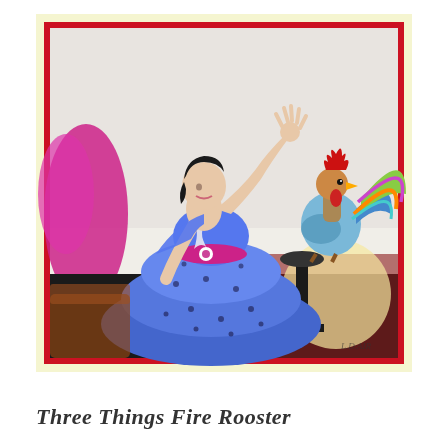[Figure (illustration): Art Deco illustration of a woman in a blue polka-dot tiered ball gown with a magenta sash, one arm raised upward with fingers spread, black short hair, white shawl, standing next to a colorful decorative rooster perched on an ornamental stand. Background includes deep red border, cream/yellow outer border, with a magenta abstract shape on the left and dark architectural elements on the right. Artist signature partially visible at bottom right.]
Three Things Fire Rooster